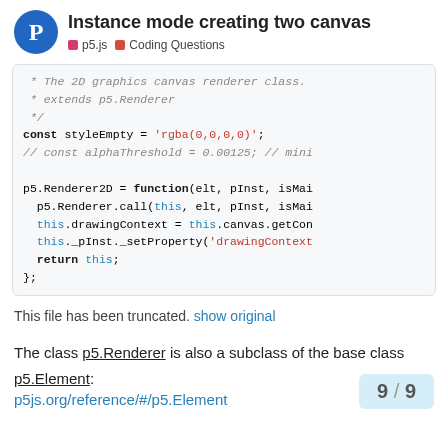Instance mode creating two canvas — p5.js · Coding Questions
[Figure (screenshot): Code block showing p5.Renderer2D function definition with syntax highlighting. Contains comment lines about 2D graphics canvas renderer class, const styleEmpty assignment, commented-out alphaThreshold, and p5.Renderer2D function body.]
This file has been truncated. show original
The class p5.Renderer is also a subclass of the base class p5.Element: 9 / 9
p5js.org/reference/#/p5.Element